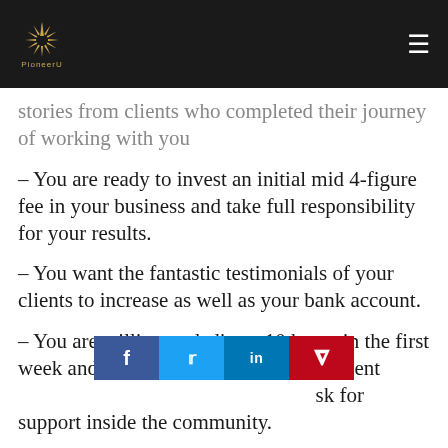PioneerU logo and navigation
stories from clients who completed their journey of working with you
– You are ready to invest an initial mid 4-figure fee in your business and take full responsibility for your results.
– You want the fantastic testimonials of your clients to increase as well as your bank account.
– You are willing to dedicate 10 hours in the first week and 2-4 hours after that to implement and ask for support inside the community.
[Figure (other): Social sharing bar with Facebook, Twitter, LinkedIn, and Pinterest buttons]